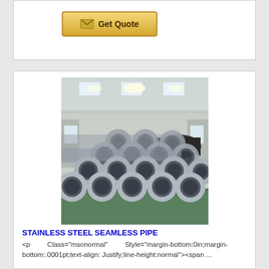[Figure (other): Get Quote button with envelope icon, gold/yellow gradient background]
[Figure (photo): Stainless steel seamless pipes stacked in a warehouse/factory setting, showing pipe ends arranged in a triangular stack]
STAINLESS STEEL SEAMLESS PIPE
<p Class="msonormal" Style="margin-bottom:0in;margin-bottom:.0001pt;text-align:Justify;line-height:normal"><span ...
[Figure (logo): Company logo at bottom, blue stylized letters]